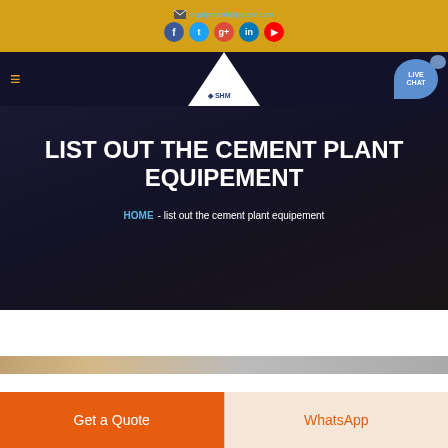equipment@pipew.com
[Figure (screenshot): Navigation bar with SHM logo, hamburger menu, and Live Chat button]
LIST OUT THE CEMENT PLANT EQUIPEMENT
HOME - list out the cement plant equipement
[Figure (photo): Partial image strip at bottom of hero area]
Get a Quote
WhatsApp